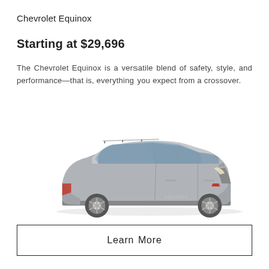Chevrolet Equinox
Starting at $29,696
The Chevrolet Equinox is a versatile blend of safety, style, and performance—that is, everything you expect from a crossover.
[Figure (photo): Side profile photo of a silver Chevrolet Equinox SUV crossover on a white background]
Learn More